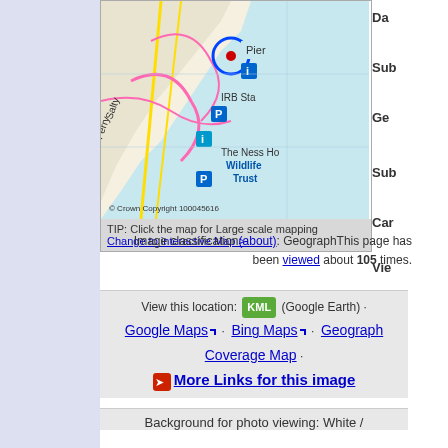[Figure (map): Ordnance Survey map showing a coastal area with Pier, IRB Sta, Salty Ferry area, The Ness Ho Wildlife Trust, parking symbol, information symbols, and a blue circle marker. Copyright Crown Copyright 100045616.]
TIP: Click the map for Large scale mapping
Change to interactive Map >
Image classification (about): Geograph This page has been viewed about 105 times.
View this location: KML (Google Earth) · Google Maps · Bing Maps · Geograph Coverage Map · More Links for this image
Background for photo viewing: White /